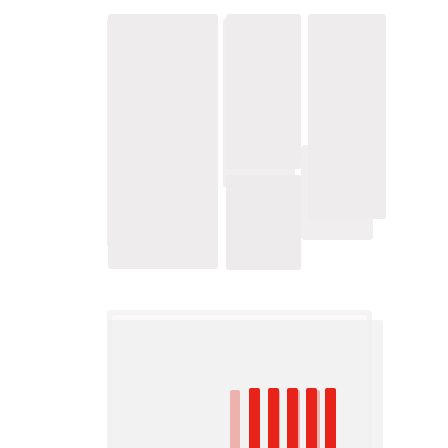[Figure (logo): A logo or icon composed of light gray rectangular shapes arranged like building blocks or file icons in the upper portion, with five vertical red bars in the middle area, and a small gray icon with a circle element in the lower-center area. The overall design appears to be a stylized logo on a white background.]